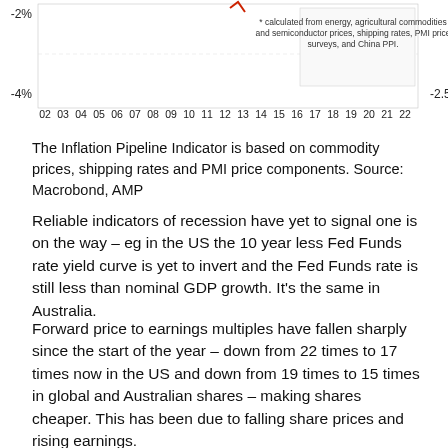[Figure (continuous-plot): Bottom portion of a dual-axis time series chart showing inflation pipeline indicator. X-axis shows years 02–22. Left y-axis shows -2% and -4%. Right y-axis shows -2.5. A legend note reads: * calculated from energy, agricultural commodities and semiconductor prices, shipping rates, PMI price surveys, and China PPI.]
The Inflation Pipeline Indicator is based on commodity prices, shipping rates and PMI price components. Source: Macrobond, AMP
Reliable indicators of recession have yet to signal one is on the way – eg in the US the 10 year less Fed Funds rate yield curve is yet to invert and the Fed Funds rate is still less than nominal GDP growth. It's the same in Australia.
Forward price to earnings multiples have fallen sharply since the start of the year – down from 22 times to 17 times now in the US and down from 19 times to 15 times in global and Australian shares – making shares cheaper. This has been due to falling share prices and rising earnings.